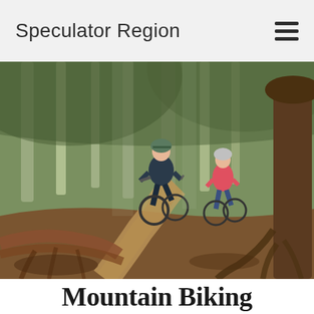Speculator Region
[Figure (photo): Two mountain bikers riding on a dirt trail through a dense forest with tall trees and exposed roots on the ground.]
Mountain Biking